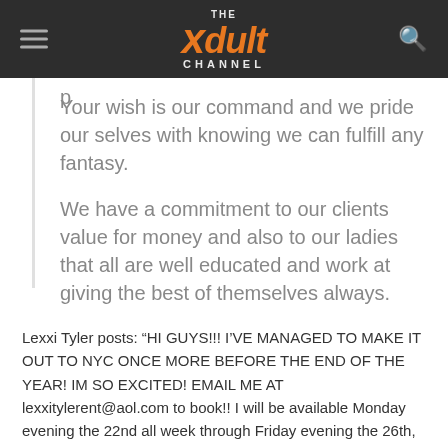THE xdult CHANNEL
Your wish is our command and we pride our selves with knowing we can fulfill any fantasy.
We have a commitment to our clients value for money and also to our ladies that all are well educated and work at giving the best of themselves always.
Lexxi Tyler posts: “HI GUYS!!! I’VE MANAGED TO MAKE IT OUT TO NYC ONCE MORE BEFORE THE END OF THE YEAR! IM SO EXCITED! EMAIL ME AT lexxitylerent@aol.com to book!! I will be available Monday evening the 22nd all week through Friday evening the 26th, leaving Saturday morning. xoxo SERIOUS (not curious) INQUIRES ONLY PLEASE!!”